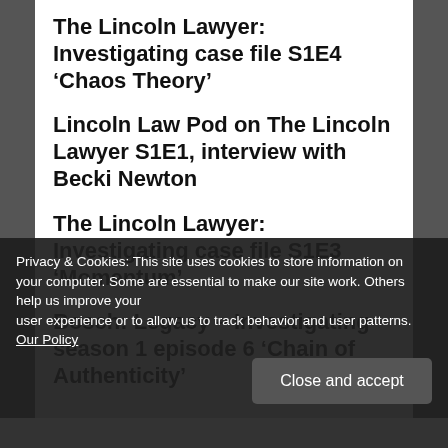The Lincoln Lawyer: Investigating case file S1E4 ‘Chaos Theory’
Lincoln Law Pod on The Lincoln Lawyer S1E1, interview with Becki Newton
The Lincoln Lawyer: Investigating case file S1E3 ‘Momentum’
Bosch: Legacy – Investigating season 1 episode 6 ‘Chain of Authenticity’
Privacy & Cookies: This site uses cookies to store information on your computer. Some are essential to make our site work. Others help us improve your user experience or to allow us to track behavior and user patterns. Our Policy